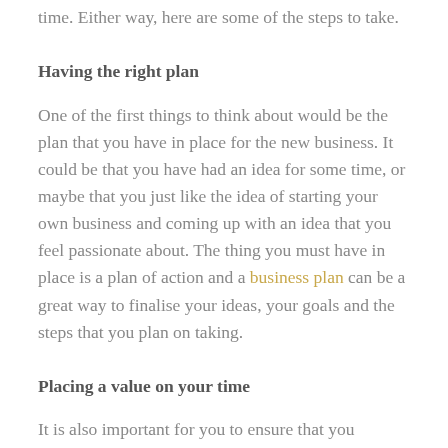time. Either way, here are some of the steps to take.
Having the right plan
One of the first things to think about would be the plan that you have in place for the new business. It could be that you have had an idea for some time, or maybe that you just like the idea of starting your own business and coming up with an idea that you feel passionate about. The thing you must have in place is a plan of action and a business plan can be a great way to finalise your ideas, your goals and the steps that you plan on taking.
Placing a value on your time
It is also important for you to ensure that you